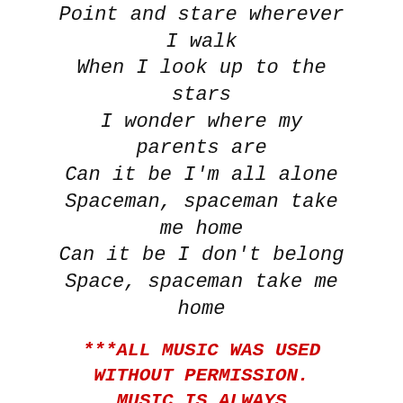Point and stare wherever I walk
When I look up to the stars
I wonder where my parents are
Can it be I'm all alone
Spaceman, spaceman take me home
Can it be I don't belong
Space, spaceman take me home
***ALL MUSIC WAS USED WITHOUT PERMISSION. MUSIC IS ALWAYS CHANNELED***